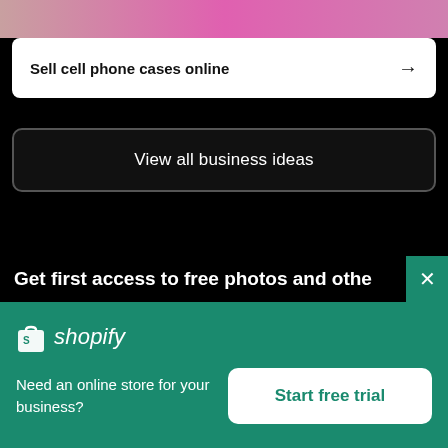[Figure (photo): Partial photo strip showing colorful image (pink/magenta tones) at the top of the page]
Sell cell phone cases online →
View all business ideas
Get first access to free photos and othe
[Figure (logo): Shopify logo with shopping bag icon and italic wordmark 'shopify']
Need an online store for your business?
Start free trial